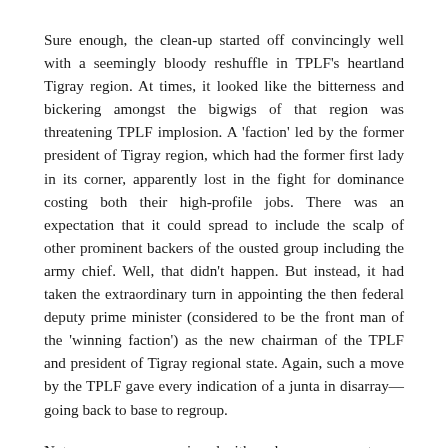Sure enough, the clean-up started off convincingly well with a seemingly bloody reshuffle in TPLF's heartland Tigray region. At times, it looked like the bitterness and bickering amongst the bigwigs of that region was threatening TPLF implosion. A 'faction' led by the former president of Tigray region, which had the former first lady in its corner, apparently lost in the fight for dominance costing both their high-profile jobs. There was an expectation that it could spread to include the scalp of other prominent backers of the ousted group including the army chief. Well, that didn't happen. But instead, it had taken the extraordinary turn in appointing the then federal deputy prime minister (considered to be the front man of the 'winning faction') as the new chairman of the TPLF and president of Tigray regional state. Again, such a move by the TPLF gave every indication of a junta in disarray—going back to base to regroup.
Not everyone was convinced with such an assessment